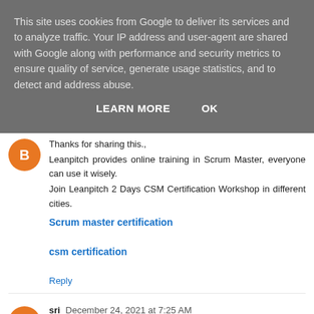This site uses cookies from Google to deliver its services and to analyze traffic. Your IP address and user-agent are shared with Google along with performance and security metrics to ensure quality of service, generate usage statistics, and to detect and address abuse.
LEARN MORE    OK
Thanks for sharing this., Leanpitch provides online training in Scrum Master, everyone can use it wisely. Join Leanpitch 2 Days CSM Certification Workshop in different cities.
Scrum master certification
csm certification
Reply
sri  December 24, 2021 at 7:25 AM
Thanks for sharing this.